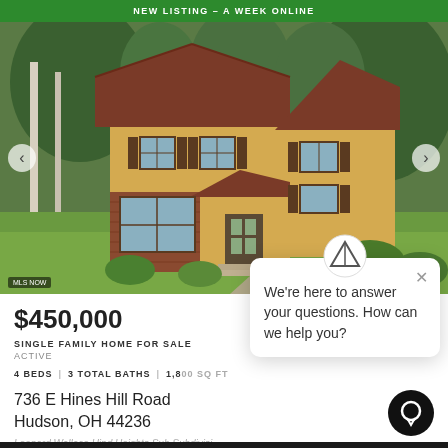NEW LISTING – A WEEK ONLINE
[Figure (photo): Exterior photo of a two-story single family home with yellow/tan siding, brown roof, and red brick lower facade, surrounded by green trees and lawn.]
$450,000
SINGLE FAMILY HOME FOR SALE
ACTIVE
4 BEDS   3 TOTAL BATHS   1,800 SQ FT
736 E Hines Hill Road
Hudson, OH 44236
Leonard Wallace Hind Heights Sub Subdivisi...
We're here to answer your questions. How can we help you?